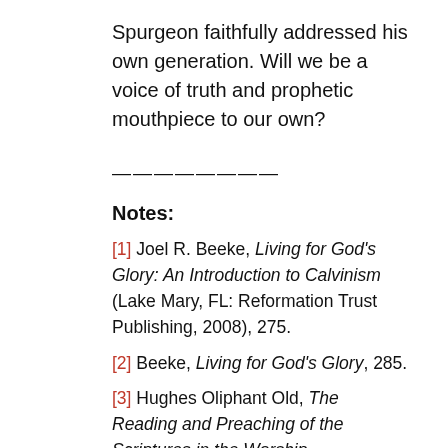Spurgeon faithfully addressed his own generation. Will we be a voice of truth and prophetic mouthpiece to our own?
————————
Notes:
[1] Joel R. Beeke, Living for God's Glory: An Introduction to Calvinism (Lake Mary, FL: Reformation Trust Publishing, 2008), 275.
[2] Beeke, Living for God's Glory, 285.
[3] Hughes Oliphant Old, The Reading and Preaching of the Scriptures in the Worship